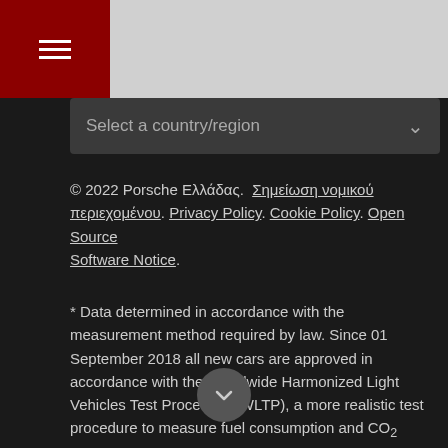[Figure (screenshot): Dark website page header with hamburger menu icon on red background left, gray area right, and a 'Select a country/region' dropdown bar below.]
© 2022 Porsche Ελλάδας.  Σημείωση νομικού περιεχομένου.  Privacy Policy.  Cookie Policy.  Open Source Software Notice.
* Data determined in accordance with the measurement method required by law. Since 01 September 2018 all new cars are approved in accordance with the Worldwide Harmonized Light Vehicles Test Procedure (WLTP), a more realistic test procedure to measure fuel consumption and CO₂ emissions. You can find more information on WLTP at www.porsche.com/wltp. Fuel economy and CO₂ emissions are only intended as a means of comparing different types of vehicles tested under the same test cycle. New WLTP homologated